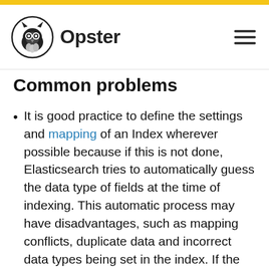Opster
Common problems
It is good practice to define the settings and mapping of an Index wherever possible because if this is not done, Elasticsearch tries to automatically guess the data type of fields at the time of indexing. This automatic process may have disadvantages, such as mapping conflicts, duplicate data and incorrect data types being set in the index. If the fields are not known in advance, it's